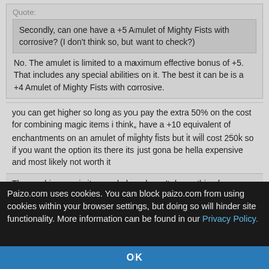Quote:
Secondly, can one have a +5 Amulet of Mighty Fists with corrosive? (I don't think so, but want to check?)
No. The amulet is limited to a maximum effective bonus of +5. That includes any special abilities on it. The best it can be is a +4 Amulet of Mighty Fists with corrosive.
you can get higher so long as you pay the extra 50% on the cost for combining magic items i think, have a +10 equivalent of enchantments on an amulet of mighty fists but it will cost 250k so if you want the option its there its just gona be hella expensive and most likely not worth it
The combing magic items rule has doesn't do anything for bypassing the +5 limit on the AoMF. If the AoMF was being combined with another item the +50% rule(guideline) would work.
Paizo.com uses cookies. You can block paizo.com from using cookies within your browser settings, but doing so will hinder site functionality. More information can be found in our Privacy Policy.
OK